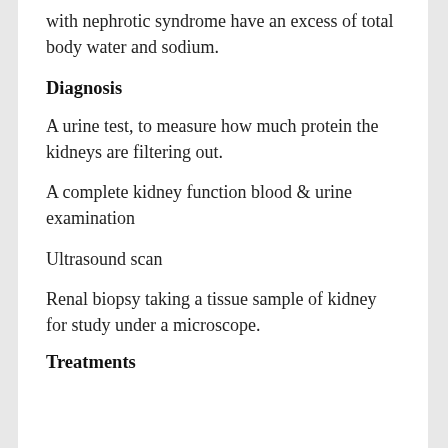with nephrotic syndrome have an excess of total body water and sodium.
Diagnosis
A urine test, to measure how much protein the kidneys are filtering out.
A complete kidney function blood & urine examination
Ultrasound scan
Renal biopsy taking a tissue sample of kidney for study under a microscope.
Treatments